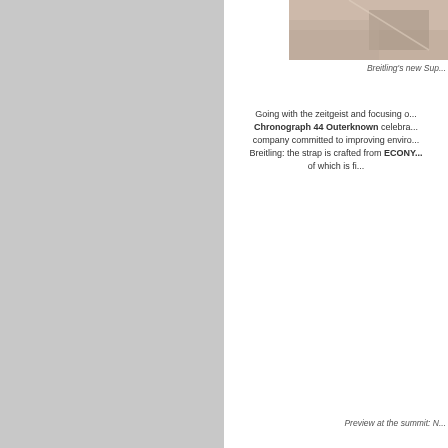[Figure (photo): Partial photo of a Breitling watch on a surface, visible in upper right area of page]
Breitling's new Sup...
Going with the zeitgeist and focusing o... Chronograph 44 Outerknown celebra... company committed to improving enviro... Breitling: the strap is crafted from ECONY... of which is fi...
Preview at the summit: N...